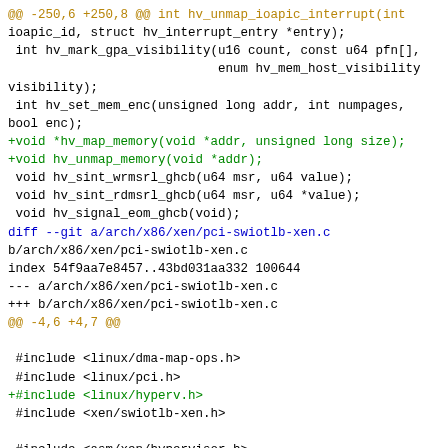[Figure (screenshot): A code diff showing changes to Linux kernel Hyper-V and Xen PCI SWIOTLB files. Includes hunk headers in gold/brown, added lines in green, context lines in black, and diff headers in blue.]